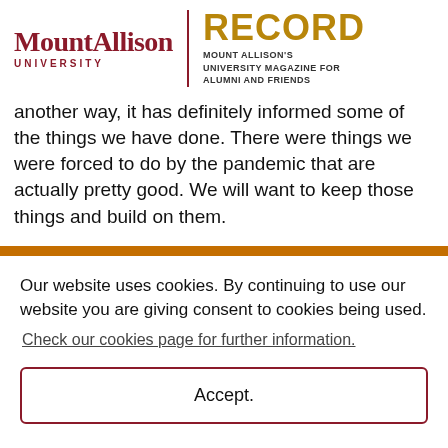MountAllison UNIVERSITY | RECORD MOUNT ALLISON'S UNIVERSITY MAGAZINE FOR ALUMNI AND FRIENDS
another way, it has definitely informed some of the things we have done. There were things we were forced to do by the pandemic that are actually pretty good. We will want to keep those things and build on them.
Our website uses cookies. By continuing to use our website you are giving consent to cookies being used. Check our cookies page for further information. Accept.